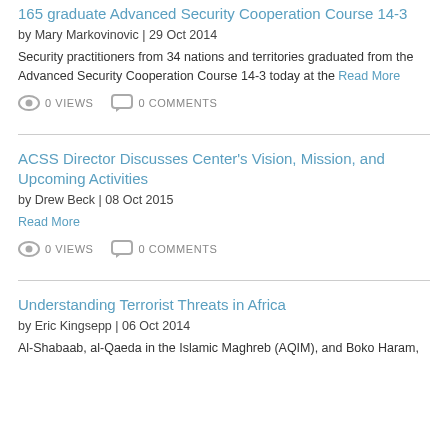165 graduate Advanced Security Cooperation Course 14-3
by Mary Markovinovic | 29 Oct 2014
Security practitioners from 34 nations and territories graduated from the Advanced Security Cooperation Course 14-3 today at the Read More
0 VIEWS  0 COMMENTS
ACSS Director Discusses Center's Vision, Mission, and Upcoming Activities
by Drew Beck | 08 Oct 2015
Read More
0 VIEWS  0 COMMENTS
Understanding Terrorist Threats in Africa
by Eric Kingsepp | 06 Oct 2014
Al-Shabaab, al-Qaeda in the Islamic Maghreb (AQIM), and Boko Haram,